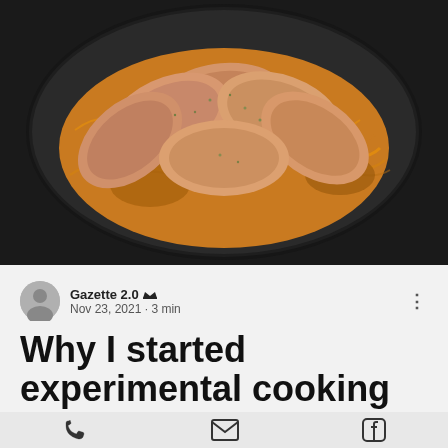[Figure (photo): Overhead photo of sliced grilled/roasted pork or meat arranged on a bed of noodles in a dark plate, garnished with green herbs]
Gazette 2.0 👑
Nov 23, 2021 · 3 min
Why I started experimental cooking using leftovers and
[Figure (infographic): Bottom navigation bar with phone, email, and Facebook icons]